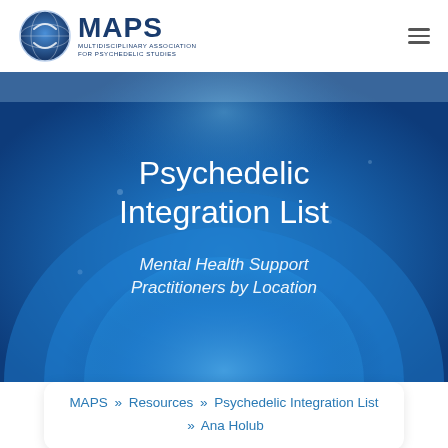[Figure (logo): MAPS logo — circular globe icon with 'MAPS' text and subtitle 'MULTIDISCIPLINARY ASSOCIATION FOR PSYCHEDELIC STUDIES']
[Figure (illustration): Blue radial gradient hero banner with circular glowing orb effect]
Psychedelic Integration List
Mental Health Support Practitioners by Location
MAPS » Resources » Psychedelic Integration List » Ana Holub